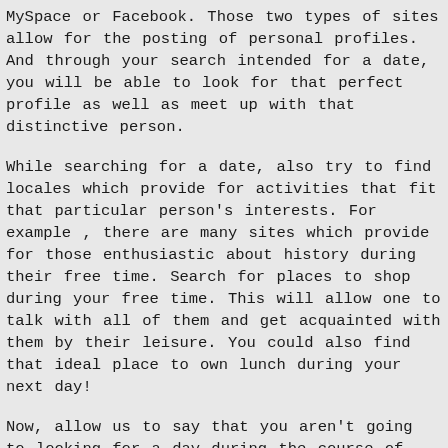MySpace or Facebook. Those two types of sites allow for the posting of personal profiles. And through your search intended for a date, you will be able to look for that perfect profile as well as meet up with that distinctive person.
While searching for a date, also try to find locales which provide for activities that fit that particular person's interests. For example , there are many sites which provide for those enthusiastic about history during their free time. Search for places to shop during your free time. This will allow one to talk with all of them and get acquainted with them by their leisure. You could also find that ideal place to own lunch during your next day!
Now, allow us to say that you aren't going to looking for a day during the course of the morning. That is when you'd want to work with the local hot czech girl community